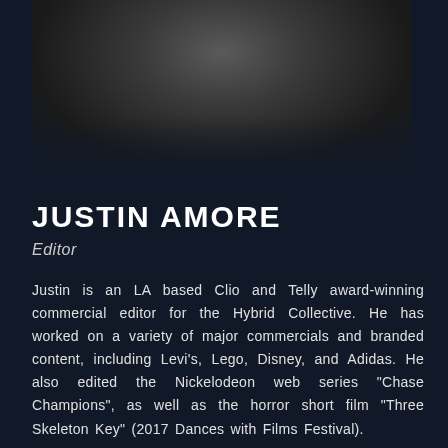[Figure (photo): Black and white portrait photo of Justin Amore, showing the top of his head and shoulders against a dark background]
JUSTIN AMORE
Editor
Justin is an LA based Clio and Telly award-winning commercial editor for the Hybrid Collective. He has worked on a variety of major commercials and branded content, including Levi's, Lego, Disney, and Adidas. He also edited the Nickelodeon web series "Chase Champions", as well as the horror short film "Three Skeleton Key" (2017 Dances with Films Festival).